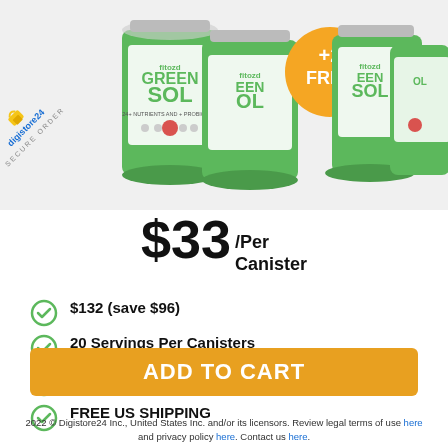[Figure (photo): Green SOL supplement canisters product photo with digistore24 secure order badge, three canisters visible and a '+2 FREE' orange badge overlay]
$33 /Per Canister
$132 (save $96)
20 Servings Per Canisters
Standard delivery time is 3-5 business days.
FREE US SHIPPING
ADD TO CART
2022 © Digistore24 Inc., United States Inc. and/or its licensors. Review legal terms of use here and privacy policy here. Contact us here.